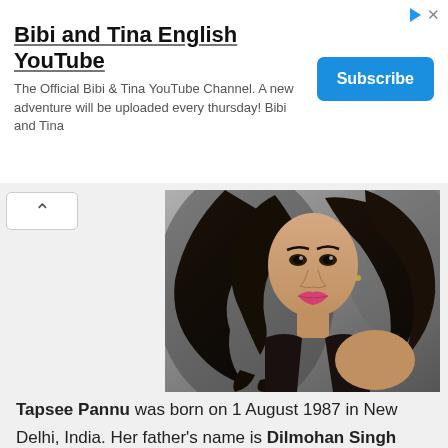[Figure (screenshot): Advertisement banner for 'Bibi and Tina English YouTube' channel with a Subscribe button]
Bibi and Tina English YouTube
The Official Bibi & Tina YouTube Channel. A new adventure will be uploaded every thursday! Bibi and Tina
[Figure (photo): Photo of Tapsee Pannu, a woman with long dark flowing hair, wearing a black outfit, posed against a grey background]
Tapsee Pannu was born on 1 August 1987 in New Delhi, India. Her father's name is Dilmohan Singh Pannu who is a